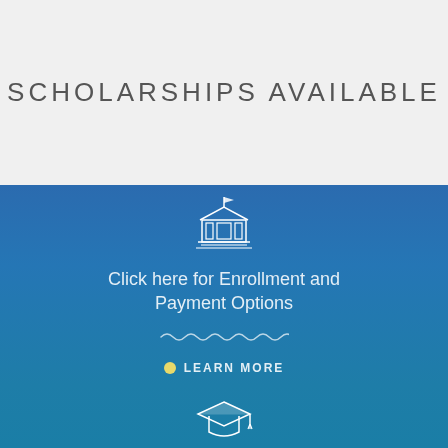SCHOLARSHIPS AVAILABLE
[Figure (illustration): White outline icon of a school/institution building with a flag on top]
Click here for Enrollment and Payment Options
[Figure (illustration): Wavy decorative underline in white]
LEARN MORE
[Figure (illustration): White outline icon of a graduation cap at the bottom section]